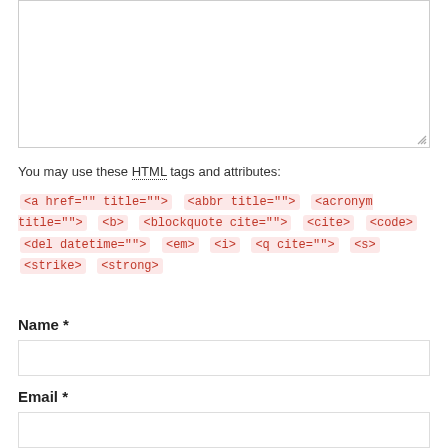[Figure (other): Large empty textarea input box with resize handle in bottom-right corner]
You may use these HTML tags and attributes: <a href="" title=""> <abbr title=""> <acronym title=""> <b> <blockquote cite=""> <cite> <code> <del datetime=""> <em> <i> <q cite=""> <s> <strike> <strong>
Name *
[Figure (other): Name text input field]
Email *
[Figure (other): Email text input field]